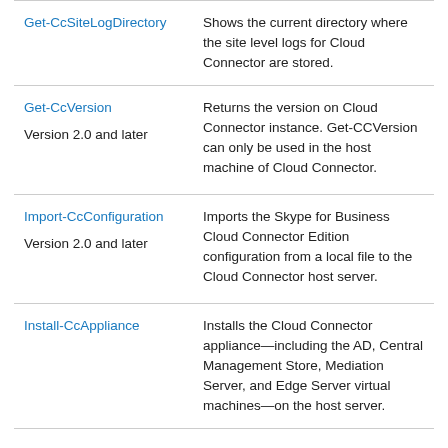| Command | Description |
| --- | --- |
| Get-CcSiteLogDirectory | Shows the current directory where the site level logs for Cloud Connector are stored. |
| Get-CcVersion
Version 2.0 and later | Returns the version on Cloud Connector instance. Get-CCVersion can only be used in the host machine of Cloud Connector. |
| Import-CcConfiguration
Version 2.0 and later | Imports the Skype for Business Cloud Connector Edition configuration from a local file to the Cloud Connector host server. |
| Install-CcAppliance | Installs the Cloud Connector appliance—including the AD, Central Management Store, Mediation Server, and Edge Server virtual machines—on the host server. |